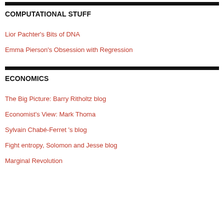COMPUTATIONAL STUFF
Lior Pachter's Bits of DNA
Emma Pierson's Obsession with Regression
ECONOMICS
The Big Picture: Barry Ritholtz blog
Economist's View: Mark Thoma
Sylvain Chabé-Ferret 's blog
Fight entropy, Solomon and Jesse blog
Marginal Revolution